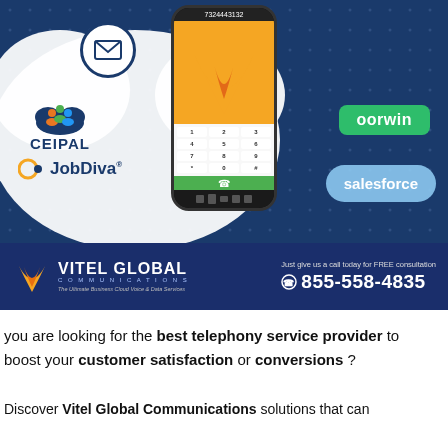[Figure (infographic): Vitel Global Communications advertising banner on dark navy background showing a smartphone with dialer app, integration logos (SMS, email, CEIPAL, JobDiva, Oorwin, Salesforce), and company contact information (855-558-4835)]
you are looking for the best telephony service provider to boost your customer satisfaction or conversions ?
Discover Vitel Global Communications solutions that can